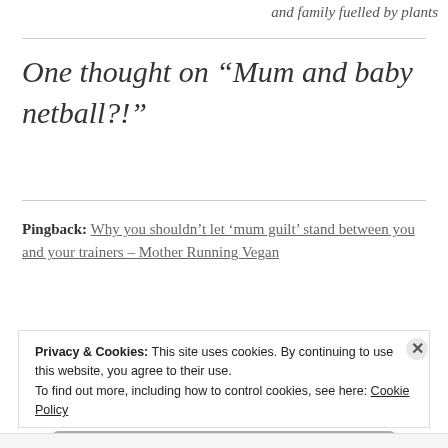and family fuelled by plants
One thought on “Mum and baby netball?!”
Pingback: Why you shouldn’t let ‘mum guilt’ stand between you and your trainers – Mother Running Vegan
Privacy & Cookies: This site uses cookies. By continuing to use this website, you agree to their use.
To find out more, including how to control cookies, see here: Cookie Policy
Close and accept